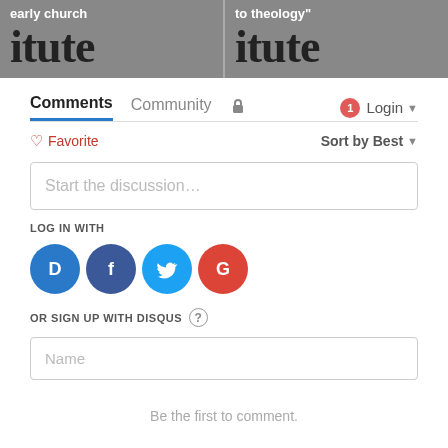[Figure (screenshot): Two partially visible book/article cover images side by side. Left shows 'early church' and 'itute' text on gray background. Right shows 'to theology"' and 'itute' text on gray background.]
Comments   Community   🔒   1   Login
♡ Favorite   Sort by Best
Start the discussion…
LOG IN WITH
[Figure (logo): Four social login icons: Disqus (blue circle with D), Facebook (dark blue circle with f), Twitter (light blue circle with bird), Google (red circle with G)]
OR SIGN UP WITH DISQUS ?
Name
Be the first to comment.